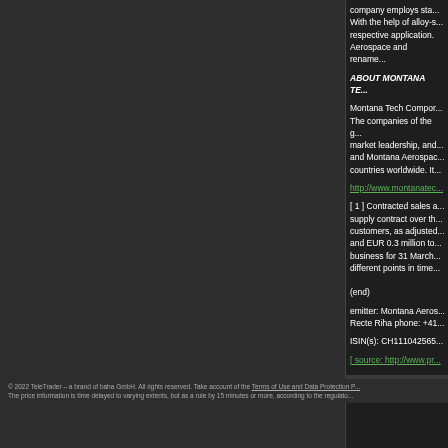company employs sta... With the help of alloy-s... respective application. Aerospace and rename...
ABOUT MONTANA TE...
Montana Tech Compor... The companies of the g... market leadership, and... and Montana Aerospac... countries worldwide. It...
http://www.montanatec...
[ 1 ] Contracted sales a... supply contract over th... customers, as adjusted... and EUR 0.3 million to... business for 31 March... different points in time...
(end)
emitter: Montana Aeros... Recte Riha phone: +41...
ISIN(s): CH111042565...
[ source: http://www.pr...
We would appreciate y...
© 2022 TeleTrader – a brand of baha GmbH. All rights reserved. Take account of the Terms of Use and Data Protection P... The price information is time delayed to varying extents, but as a rule by 15 minutes or more, according to the regulato...